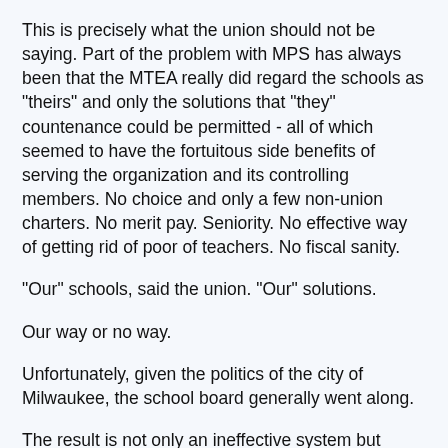This is precisely what the union should not be saying. Part of the problem with MPS has always been that the MTEA really did regard the schools as "theirs" and only the solutions that "they" countenance could be permitted - all of which seemed to have the fortuitous side benefits of serving the organization and its controlling members. No choice and only a few non-union charters. No merit pay. Seniority. No effective way of getting rid of poor of teachers. No fiscal sanity.
"Our" schools, said the union. "Our" solutions.
Our way or no way.
Unfortunately, given the politics of the city of Milwaukee, the school board generally went along.
The result is not only an ineffective system but schools on the verge of financial collapse. It has resulted in unparalleled flight of poor minority kids to choice schools and an exodus of the middle class from what is otherwise a very pleasant